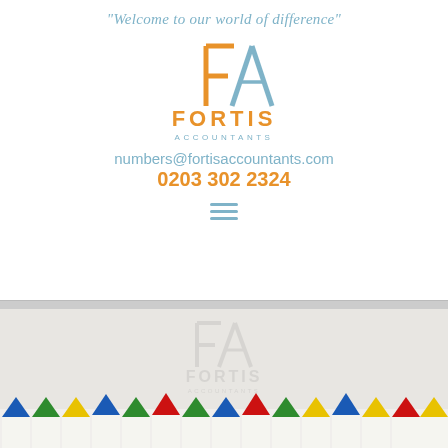“Welcome to our world of difference”
[Figure (logo): Fortis Accountants logo with stylized FA monogram in orange and teal, and text FORTIS ACCOUNTANTS below]
numbers@fortisaccountants.com
0203 302 2324
[Figure (other): Hamburger menu icon (three horizontal lines)]
[Figure (photo): Photograph showing colorful crayon tips (blue, green, yellow, red) in a row at the bottom of the page, with a watermark of the Fortis Accountants logo overlaid on a light grey background]